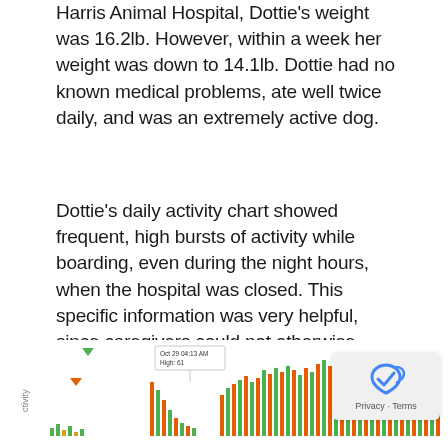Harris Animal Hospital, Dottie's weight was 16.2lb. However, within a week her weight was down to 14.1lb. Dottie had no known medical problems, ate well twice daily, and was an extremely active dog.
Dottie's daily activity chart showed frequent, high bursts of activity while boarding, even during the night hours, when the hospital was closed. This specific information was very helpful, since caregivers could not otherwise know about her activity patterns during the night hours.
[Figure (bar-chart): Dottie's daily activity chart showing bars of activity over time, with a tooltip reading 'Oct 29 04:13 AM High: 61'. Bars are green and orange/gold colored, showing frequent high bursts. A partial view with y-axis labeled 'ctivity'.]